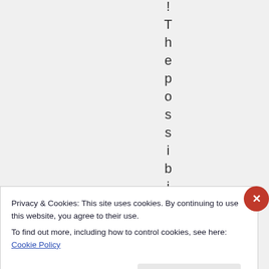! T h e p o s s i b i
Privacy & Cookies: This site uses cookies. By continuing to use this website, you agree to their use.
To find out more, including how to control cookies, see here: Cookie Policy
Close and accept